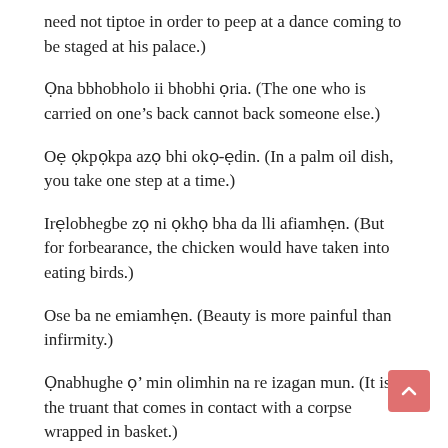need not tiptoe in order to peep at a dance coming to be staged at his palace.)
Ọna bbhobholo ii bhobhi ọria. (The one who is carried on one's back cannot back someone else.)
Oẹ ọkpọkpa azẹ bhi okọ-ẹdin. (In a palm oil dish, you take one step at a time.)
Irẹlobhegbe zẹ ni ọkhọ bha da lli afiamhẹn. (But for forbearance, the chicken would have taken into eating birds.)
Ose ba ne emiamhẹn. (Beauty is more painful than infirmity.)
Ọnabhughe ọ' min olimhin na re izagan mun. (It is the truant that comes in contact with a corpse wrapped in basket.)
Ai re ẹbhe ni oruan ọria rẹmhọn. (To ensure a lasting